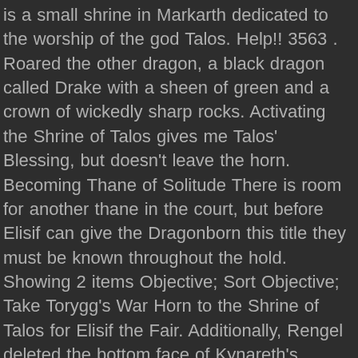is a small shrine in Markarth dedicated to the worship of the god Talos. Help!! 3563 . Roared the other dragon, a black dragon called Drake with a sheen of green and a crown of wickedly sharp rocks. Activating the Shrine of Talos gives me Talos' Blessing, but doesn't leave the horn. Becoming Thane of Solitude There is room for another thane in the court, but before Elisif can give the Dragonborn this title they must be known throughout the hold. Showing 2 items Objective; Sort Objective; Take Torygg's War Horn to the Shrine of Talos for Elisif the Fair. Additionally, Rengel deleted the bottom face of Kynareth's shrine. So, I went to a Shrine of Talos (and then a Temple of Talos) and don't know what to do there. I went and talked to Elisif again and it activated the quest again. Skills can be reset at Rededication Shrines found in the capital cities of each ESO faction, for a tidy sum of gold.. It only takes a minute to sign up. I tried following this Guide. I kept and kept on searching. Is it normal to need to replace my brakes every few months? Help!! Skyrim is a province of the Empire. Forum